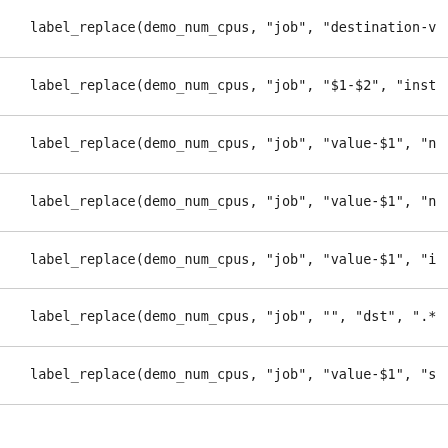label_replace(demo_num_cpus, "job", "destination-v
label_replace(demo_num_cpus, "job", "$1-$2", "inst
label_replace(demo_num_cpus, "job", "value-$1", "n
label_replace(demo_num_cpus, "job", "value-$1", "n
label_replace(demo_num_cpus, "job", "value-$1", "i
label_replace(demo_num_cpus, "job", "", "dst", ".*
label_replace(demo_num_cpus, "job", "value-$1", "s